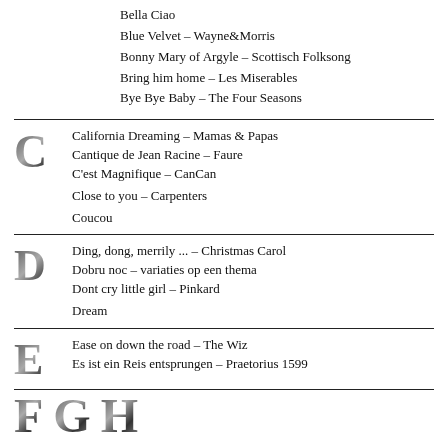Bella Ciao
Blue Velvet – Wayne&Morris
Bonny Mary of Argyle – Scottisch Folksong
Bring him home – Les Miserables
Bye Bye Baby – The Four Seasons
C
California Dreaming – Mamas & Papas
Cantique de Jean Racine – Faure
C'est Magnifique – CanCan
Close to you – Carpenters
Coucou
D
Ding, dong, merrily ... – Christmas Carol
Dobru noc – variaties op een thema
Dont cry little girl – Pinkard
Dream
E
Ease on down the road – The Wiz
Es ist ein Reis entsprungen – Praetorius 1599